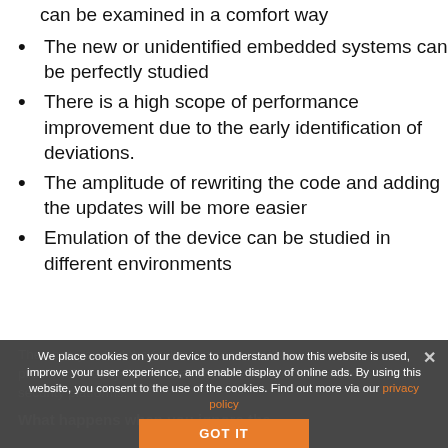can be examined in a comfort way
The new or unidentified embedded systems can be perfectly studied
There is a high scope of performance improvement due to the early identification of deviations.
The amplitude of rewriting the code and adding the updates will be more easier
Emulation of the device can be studied in different environments
The soon you find the faults; the sooner will be
practise the early firmware analysis to conquer the success in IoT security platforms.
What happens when you ignore the
We place cookies on your device to understand how this website is used, improve your user experience, and enable display of online ads. By using this website, you consent to the use of the cookies. Find out more via our privacy policy
GOT IT